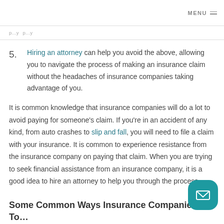MENU
p...y p...y
5. Hiring an attorney can help you avoid the above, allowing you to navigate the process of making an insurance claim without the headaches of insurance companies taking advantage of you.
It is common knowledge that insurance companies will do a lot to avoid paying for someone's claim. If you're in an accident of any kind, from auto crashes to slip and fall, you will need to file a claim with your insurance. It is common to experience resistance from the insurance company on paying that claim. When you are trying to seek financial assistance from an insurance company, it is a good idea to hire an attorney to help you through the process.
Some Common Ways Insurance Companies Try To Avoid Paying